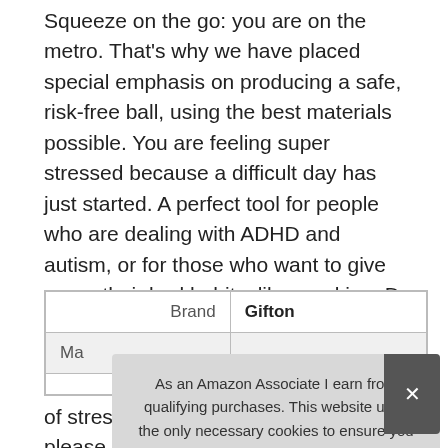Squeeze on the go: you are on the metro. That's why we have placed special emphasis on producing a safe, risk-free ball, using the best materials possible. You are feeling super stressed because a difficult day has just started. A perfect tool for people who are dealing with ADHD and autism, or for those who want to give up on their bad habits, like smoking. Do it the safe way: we know- that ball will end up in your kids hands sooner or later. We have over 50 different types of stress balls for sale on Amazon please press on our brand link Gifton to check for more choices.
| Brand | Gifton |
| Ma |  |
As an Amazon Associate I earn from qualifying purchases. This website uses the only necessary cookies to ensure you get the best experience on our website. More information